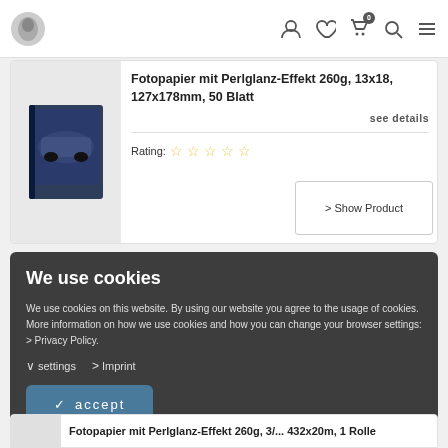Navigation bar with logo, user, wishlist, cart (0), search, menu icons
Fotopapier mit Perlglanz-Effekt 260g, 13x18, 127x178mm, 50 Blatt
see details
Rating: ☆☆☆☆☆
> Show Product
We use cookies
We use cookies on this website. By using our website you agree to the usage of cookies. More information on how we use cookies and how you can change your browser settings: > Privacy Policy.
∨ settings > Imprint
✓ accept
Fotopapier mit Perlglanz-Effekt 260g, ...